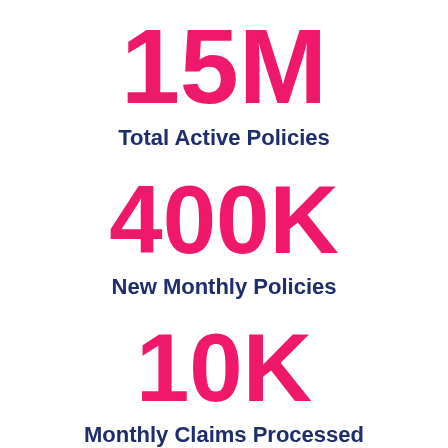15M
Total Active Policies
400K
New Monthly Policies
10K
Monthly Claims Processed